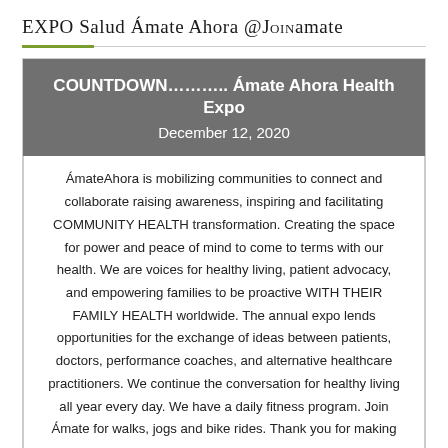EXPO Salud Ámate Ahora @JOINAMATE
COUNTDOWN……….. Ámate Ahora Health Expo
December 12, 2020
ÁmateAhora is mobilizing communities to connect and collaborate raising awareness, inspiring and facilitating COMMUNITY HEALTH transformation. Creating the space for power and peace of mind to come to terms with our health. We are voices for healthy living, patient advocacy, and empowering families to be proactive WITH THEIR FAMILY HEALTH worldwide. The annual expo lends opportunities for the exchange of ideas between patients, doctors, performance coaches, and alternative healthcare practitioners. We continue the conversation for healthy living all year every day. We have a daily fitness program. Join Ámate for walks, jogs and bike rides. Thank you for making a